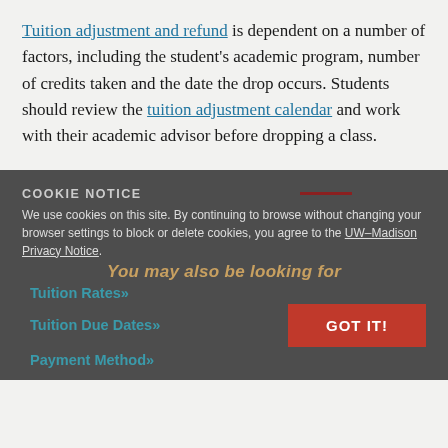Tuition adjustment and refund is dependent on a number of factors, including the student's academic program, number of credits taken and the date the drop occurs. Students should review the tuition adjustment calendar and work with their academic advisor before dropping a class.
COOKIE NOTICE
We use cookies on this site. By continuing to browse without changing your browser settings to block or delete cookies, you agree to the UW–Madison Privacy Notice.
You may also be looking for
Tuition Rates»
Tuition Due Dates»
Payment Methods»